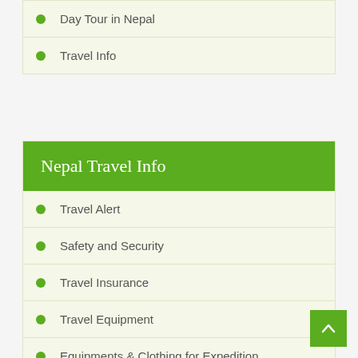Day Tour in Nepal
Travel Info
Nepal Travel Info
Travel Alert
Safety and Security
Travel Insurance
Travel Equipment
Equipments & Clothing for Expedition
Health and Medicine
Passport and Visa Information